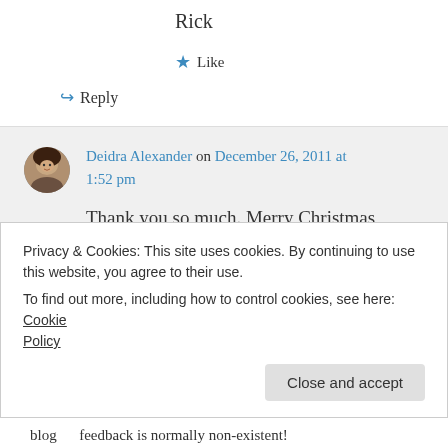Rick
★ Like
↪ Reply
Deidra Alexander on December 26, 2011 at 1:52 pm
Thank you so much. Merry Christmas
★ Like
Privacy & Cookies: This site uses cookies. By continuing to use this website, you agree to their use.
To find out more, including how to control cookies, see here: Cookie Policy
Close and accept
blog     feedback is normally non-existent!